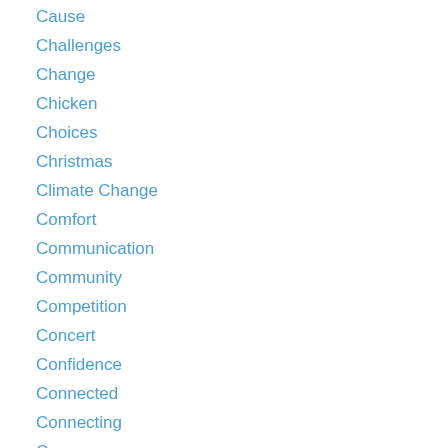Cause
Challenges
Change
Chicken
Choices
Christmas
Climate Change
Comfort
Communication
Community
Competition
Concert
Confidence
Connected
Connecting
Consequences
Contributing
Control
Cool
Cooperation